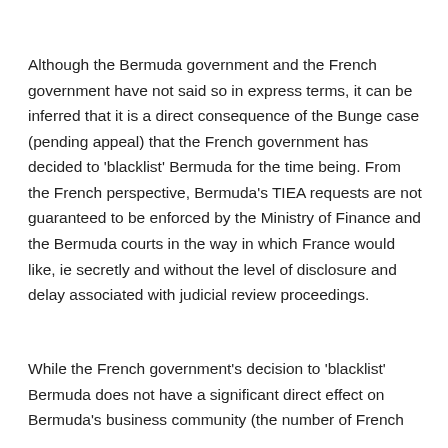Although the Bermuda government and the French government have not said so in express terms, it can be inferred that it is a direct consequence of the Bunge case (pending appeal) that the French government has decided to 'blacklist' Bermuda for the time being. From the French perspective, Bermuda's TIEA requests are not guaranteed to be enforced by the Ministry of Finance and the Bermuda courts in the way in which France would like, ie secretly and without the level of disclosure and delay associated with judicial review proceedings.
While the French government's decision to 'blacklist' Bermuda does not have a significant direct effect on Bermuda's business community (the number of French